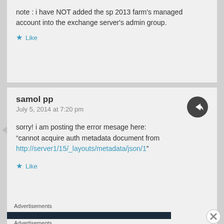note : i have NOT added the sp 2013 farm's managed account into the exchange server's admin group.
Like
samol pp
July 5, 2014 at 7:20 pm
sorry! i am posting the error mesage here: “cannot acquire auth metadata document from http://server1/15/_layouts/metadata/json/1”
Like
Advertisements
Advertisements